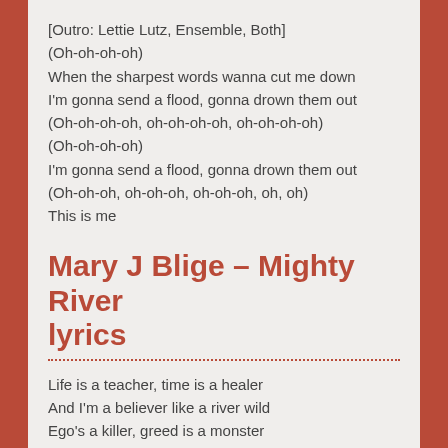[Outro: Lettie Lutz, Ensemble, Both]
(Oh-oh-oh-oh)
When the sharpest words wanna cut me down
I'm gonna send a flood, gonna drown them out
(Oh-oh-oh-oh, oh-oh-oh-oh, oh-oh-oh-oh)
(Oh-oh-oh-oh)
I'm gonna send a flood, gonna drown them out
(Oh-oh-oh, oh-oh-oh, oh-oh-oh, oh, oh)
This is me
Mary J Blige – Mighty River lyrics
Life is a teacher, time is a healer
And I'm a believer like a river wild
Ego's a killer, greed is a monster
But love is stronger, stronger than them all

[Pre-Chorus]
White flag in hand, I don't wanna fight